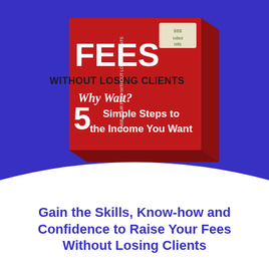[Figure (photo): A red book cover shown in 3D perspective against a dark blue/purple background. The book cover text reads: FEES / WITHOUT LOSING CLIENTS / Why Wait? / 5 Simple Steps to the Income You Want. There is a small image of rolled US dollar bills in the top right corner of the book cover.]
Gain the Skills, Know-how and Confidence to Raise Your Fees Without Losing Clients